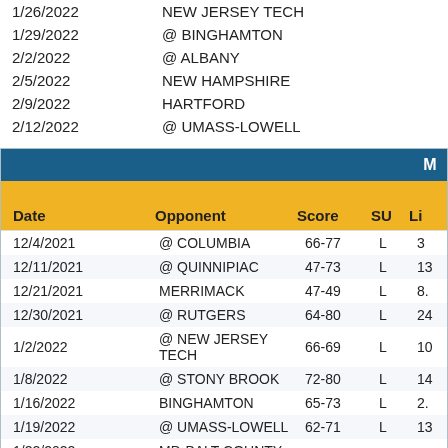| Date | Opponent |
| --- | --- |
| 1/26/2022 | NEW JERSEY TECH |
| 1/29/2022 | @ BINGHAMTON |
| 2/2/2022 | @ ALBANY |
| 2/5/2022 | NEW HAMPSHIRE |
| 2/9/2022 | HARTFORD |
| 2/12/2022 | @ UMASS-LOWELL |
| Date | Opponent | Score | SU | Li |
| --- | --- | --- | --- | --- |
| 12/4/2021 | @ COLUMBIA | 66-77 | L | 3 |
| 12/11/2021 | @ QUINNIPIAC | 47-73 | L | 13 |
| 12/21/2021 | MERRIMACK | 47-49 | L | 8. |
| 12/30/2021 | @ RUTGERS | 64-80 | L | 24 |
| 1/2/2022 | @ NEW JERSEY TECH | 66-69 | L | 10 |
| 1/8/2022 | @ STONY BROOK | 72-80 | L | 14 |
| 1/16/2022 | BINGHAMTON | 65-73 | L | 2. |
| 1/19/2022 | @ UMASS-LOWELL | 62-71 | L | 13 |
| 1/22/2022 | MD-BALT COUNTY |  |  |  |
| 1/24/2022 | NEW HAMPSHIRE |  |  |  |
| 1/29/2022 | @ VERMONT |  |  |  |
| 1/31/2022 | HARTFORD |  |  |  |